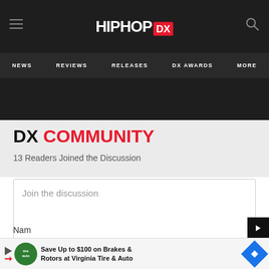HIPHOP DX — NEWS | REVIEWS | RELEASES | DX AWARDS | MORE
DX COMMUNITY
13 Readers Joined the Discussion
Join the discussion
Nam…
Save Up to $100 on Brakes & Rotors at Virginia Tire & Auto